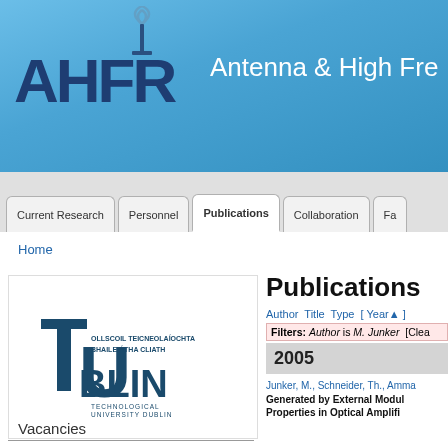[Figure (logo): AHFR Antenna & High Frequency Research logo with antenna icon and blue letter logo]
Antenna & Hig Fre
[Figure (screenshot): Navigation bar with tabs: Current Research, Personnel, Publications (active), Collaboration, Fa...]
Home
[Figure (logo): TU Dublin - Technological University Dublin logo, text reads OLLSCOIL TEICNEOLAIOCHTA BHAILE ATHA CLIATH / DUBLIN / TECHNOLOGICAL UNIVERSITY DUBLIN]
Publications
Author Title Type [ Year▲ ]
Filters: Author is M. Junker [Clea
2005
Junker, M., Schneider, Th., Amma
Generated by External Modul
Properties in Optical Amplifi
Vacancies